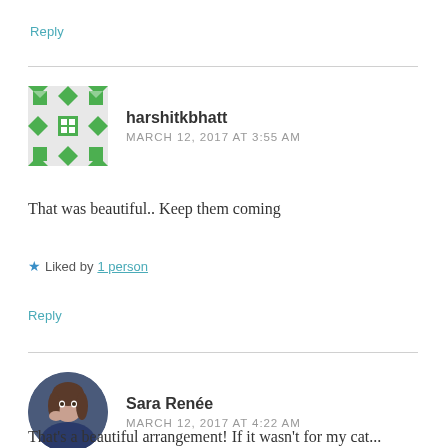Reply
harshitkbhatt
MARCH 12, 2017 AT 3:55 AM
That was beautiful.. Keep them coming
★ Liked by 1 person
Reply
Sara Renée
MARCH 12, 2017 AT 4:22 AM
That's a beautiful arrangement! If it wasn't for my cat...